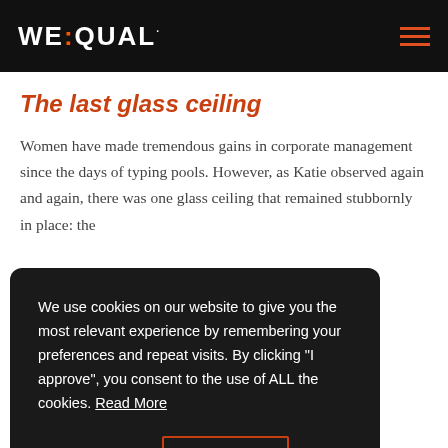WEQUAL
The last glass ceiling
Women have made tremendous gains in corporate management since the days of typing pools. However, as Katie observed again and again, there was one glass ceiling that remained stubbornly in place: the
We use cookies on our website to give you the most relevant experience by remembering your preferences and repeat visits. By clicking “I approve”, you consent to the use of ALL the cookies. Read More
Cookie settings  I approve